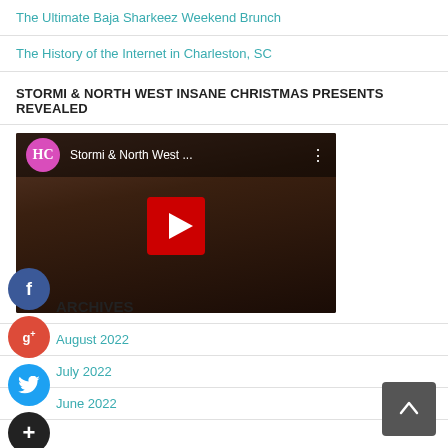The Ultimate Baja Sharkeez Weekend Brunch
The History of the Internet in Charleston, SC
STORMI & NORTH WEST INSANE CHRISTMAS PRESENTS REVEALED
[Figure (screenshot): YouTube video thumbnail showing Stormi & North West with HL channel logo and red play button]
ARCHIVES
August 2022
July 2022
June 2022